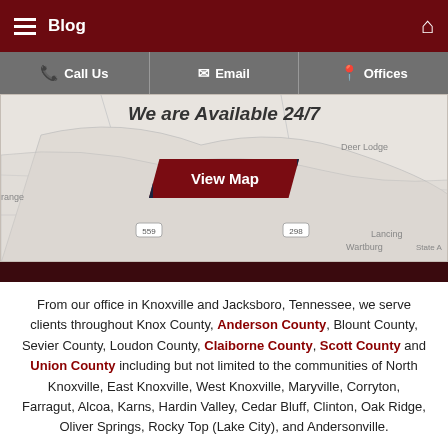Blog
Call Us | Email | Offices
[Figure (map): Partial map showing Tennessee region with 'We are Available 24/7' title and a 'View Map' button. Shows place names including Deer Lodge, Lancing, Wartburg, and road numbers.]
From our office in Knoxville and Jacksboro, Tennessee, we serve clients throughout Knox County, Anderson County, Blount County, Sevier County, Loudon County, Claiborne County, Scott County and Union County including but not limited to the communities of North Knoxville, East Knoxville, West Knoxville, Maryville, Corryton, Farragut, Alcoa, Karns, Hardin Valley, Cedar Bluff, Clinton, Oak Ridge, Oliver Springs, Rocky Top (Lake City), and Andersonville.